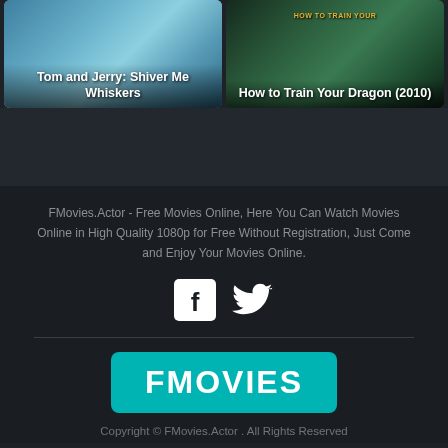[Figure (screenshot): Movie card thumbnail for Tom and Jerry: Shiver Me Whiskers with animated characters on water background]
Tom and Jerry: Shiver Me Whiskers
[Figure (screenshot): Movie card thumbnail for How to Train Your Dragon (2010) with dragon on dark background]
How to Train Your Dragon (2010)
FMovies.Actor - Free Movies Online, Here You Can Watch Movies Online in High Quality 1080p for Free Without Registration, Just Come and Enjoy Your Movies Online.
[Figure (logo): Facebook and Twitter social media icons in white]
[Figure (logo): FMOVIES logo in white text on teal/cyan rounded rectangle background]
Copyright © FMovies.Actor . All Rights Reserved